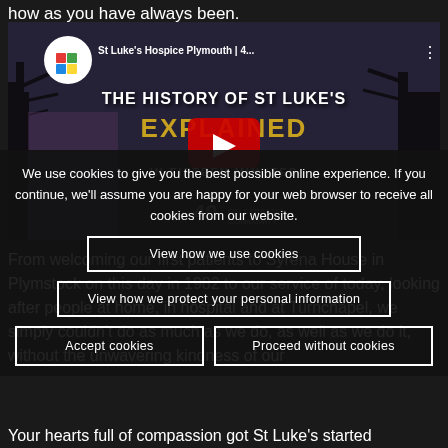how as you have always been.
[Figure (screenshot): YouTube video thumbnail for St Luke's Hospice Plymouth showing 'THE HISTORY OF ST LUKE'S EXPLAINED IN FIFTEEN MINUTES' with channel logo, play button, and 40th anniversary branding]
We use cookies to give you the best possible online experience. If you continue, we'll assume you are happy for your web browser to receive all cookies from our website.
View how we use cookies
View how we protect your personal information
From welcoming our first patients to Syrena House in Plymstock on this day in 1982 to our service of today, looking after people at home, in hospital and at Turnchapel, we simply couldn't do as much as we do, as well as we do it, without the unwavering kindness of our
Accept cookies
Proceed without cookies
Your hearts full of compassion got St Luke's started